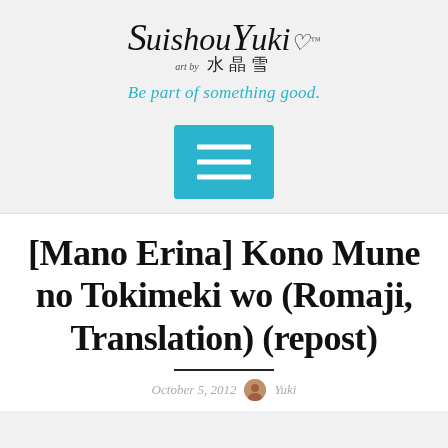art by SuishouYuki 水晶雪
Be part of something good.
[Figure (other): Hamburger menu button (three horizontal white lines on cyan/teal background square)]
[Mano Erina] Kono Mune no Tokimeki wo (Romaji, Translation) (repost)
October 5, 2012  Yuki